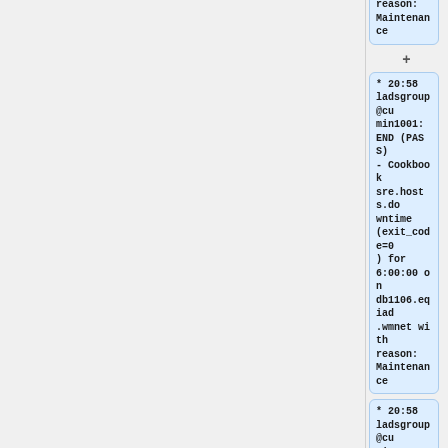reason: Maintenance
* 20:58 ladsgroup@cumin1001: END (PASS) - Cookbook sre.hosts.downtime (exit_code=0) for 6:00:00 on db1106.eqiad.wmnet with reason: Maintenance
* 20:58 ladsgroup@cumin1001: START - Cookbook